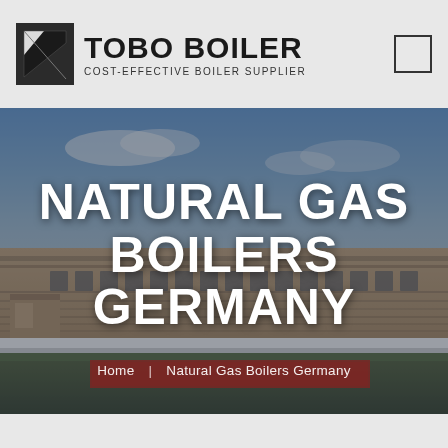[Figure (logo): Tobo Boiler logo with triangular icon and text 'TOBO BOILER — COST-EFFECTIVE BOILER SUPPLIER']
[Figure (photo): Hero image of a large industrial factory/boiler manufacturing facility building exterior with blue sky. Overlaid with large white bold text reading 'NATURAL GAS BOILERS GERMANY' and breadcrumb navigation 'Home | Natural Gas Boilers Germany']
NATURAL GAS BOILERS GERMANY
Home  |  Natural Gas Boilers Germany